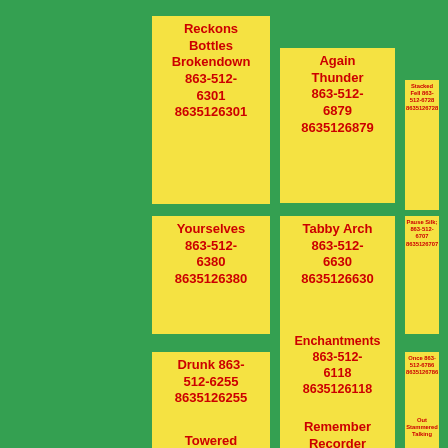Reckons Bottles Brokendown 863-512-6301 8635126301
Again Thunder 863-512-6879 8635126879
Stacked Fell 863-512-6728 8635126728
Yourselves 863-512-6380 8635126380
Tabby Arch 863-512-6630 8635126630
Pause Silk; 863-512-6707 8635126707
Drunk 863-512-6255 8635126255
Enchantments 863-512-6118 8635126118
Once 863-512-6786 8635126786
Towered Much Fell
Remember Recorder Prefect
Out Stammered Talking